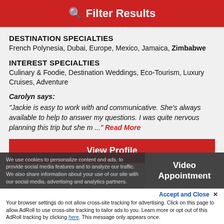Filter Results
DESTINATION SPECIALTIES
French Polynesia, Dubai, Europe, Mexico, Jamaica, Zimbabwe
INTEREST SPECIALTIES
Culinary & Foodie, Destination Weddings, Eco-Tourism, Luxury Cruises, Adventure
Carolyn says:
"Jackie is easy to work with and communicative. She's always available to help to answer my questions. I was quite nervous planning this trip but she m ..." Read More
View Profile
We use cookies to personalize content and ads, to provide social media features and to analyze our traffic. We also share information about your use of our site with our social media, advertising and analytics partners.
Video Appointment
Accept and Close ✕
Your browser settings do not allow cross-site tracking for advertising. Click on this page to allow AdRoll to use cross-site tracking to tailor ads to you. Learn more or opt out of this AdRoll tracking by clicking here. This message only appears once.